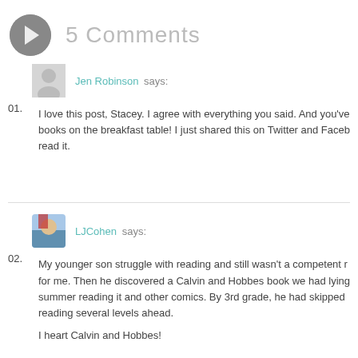5 Comments
Jen Robinson says:
01. I love this post, Stacey. I agree with everything you said. And you've books on the breakfast table! I just shared this on Twitter and Faceb read it.
LJCohen says:
02. My younger son struggle with reading and still wasn't a competent r for me. Then he discovered a Calvin and Hobbes book we had lying summer reading it and other comics. By 3rd grade, he had skipped reading several levels ahead.
I heart Calvin and Hobbes!